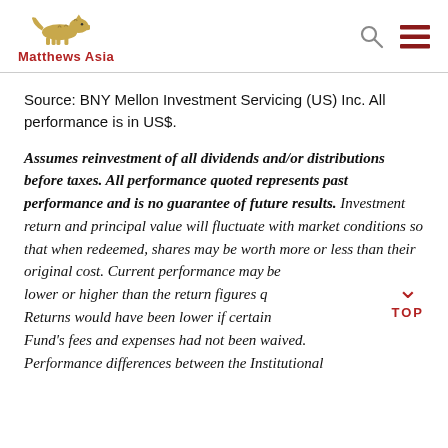Matthews Asia
Source: BNY Mellon Investment Servicing (US) Inc. All performance is in US$.
Assumes reinvestment of all dividends and/or distributions before taxes. All performance quoted represents past performance and is no guarantee of future results. Investment return and principal value will fluctuate with market conditions so that when redeemed, shares may be worth more or less than their original cost. Current performance may be lower or higher than the return figures quoted. Returns would have been lower if certain of the Fund's fees and expenses had not been waived. Performance differences between the Institutional